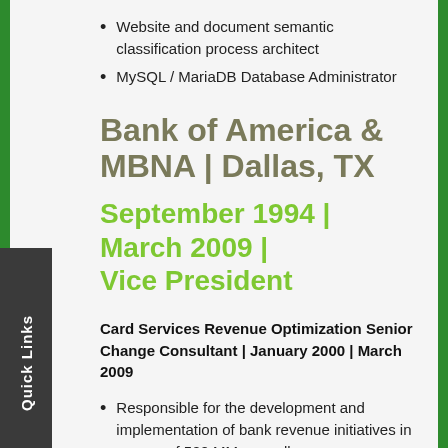Website and document semantic classification process architect
MySQL / MariaDB Database Administrator
Bank of America & MBNA | Dallas, TX
September 1994 | March 2009 | Vice President
Card Services Revenue Optimization Senior Change Consultant | January 2000 | March 2009
Responsible for the development and implementation of bank revenue initiatives in excess of 500 MM annually.